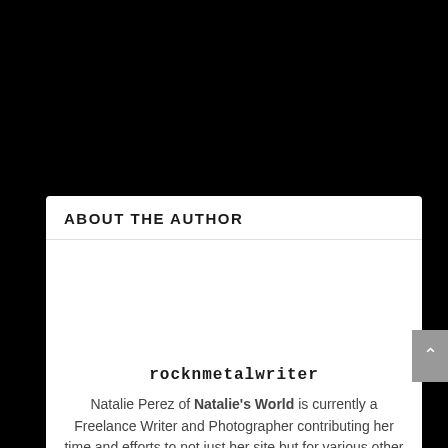ABOUT THE AUTHOR
rocknmetalwriter
Natalie Perez of Natalie's World is currently a Freelance Writer and Photographer contributing her time and efforts to not just her site but for various other music